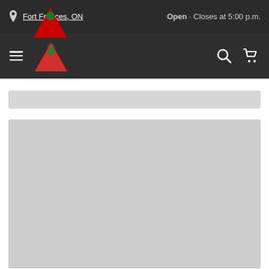Fort Frances, ON  Open · Closes at 5:00 p.m.
[Figure (screenshot): Canadian Tire website navigation bar with hamburger menu, Canadian Tire logo (red downward triangle with green maple leaf), search icon, and shopping cart icon on dark background]
[Figure (other): Gray skeleton loading placeholder bar]
[Figure (other): Gray skeleton loading placeholder large block]